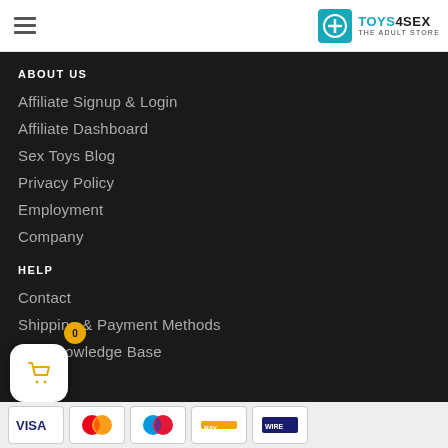TOYS4SEX THE ADULT STORE
ABOUT US
Affiliate Signup & Login
Affiliate Dashboard
Sex Toys Blog
Privacy Policy
Employment
Company
HELP
Contact
Shipping & Payment Methods
Toy Knowledge Base
[Figure (other): Shopping cart button with badge showing 0 items]
[Figure (other): Payment method icons: VISA, Mastercard, Maestro, and others]